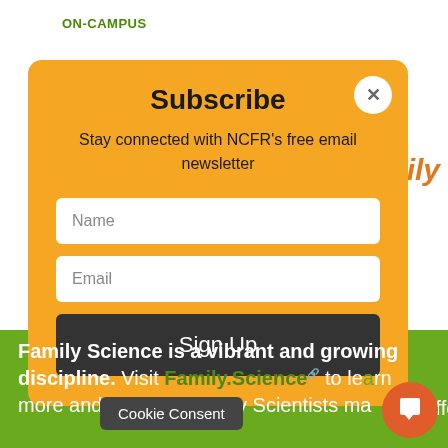ON-CAMPUS
[Figure (screenshot): Subscribe modal popup with orange/yellow background. Contains title 'Subscribe', close X button, subtitle text 'Stay connected with NCFR's free email newsletter', Name input field, Email input field, and Sign Up button.]
Family Science is a vibrant and growing discipline. Visit Family.Science to learn more and see how Family Scientists make a difference.
Cookie Consent